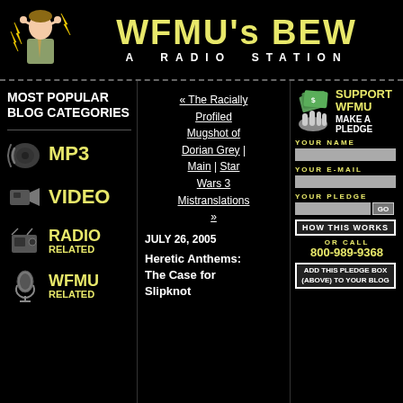WFMU's BEW — A RADIO STATION
MOST POPULAR BLOG CATEGORIES
MP3
VIDEO
RADIO RELATED
WFMU RELATED
« The Racially Profiled Mugshot of Dorian Grey | Main | Star Wars 3 Mistranslations »
JULY 26, 2005
Heretic Anthems: The Case for Slipknot
SUPPORT WFMU MAKE A PLEDGE
YOUR NAME
YOUR E-MAIL
YOUR PLEDGE
HOW THIS WORKS
OR CALL 800-989-9368
ADD THIS PLEDGE BOX (ABOVE) TO YOUR BLOG